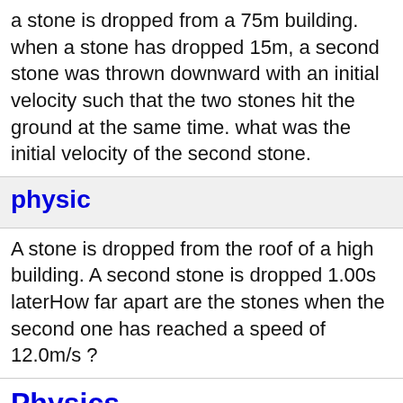a stone is dropped from a 75m building. when a stone has dropped 15m, a second stone was thrown downward with an initial velocity such that the two stones hit the ground at the same time. what was the initial velocity of the second stone.
physic
A stone is dropped from the roof of a high building. A second stone is dropped 1.00s laterHow far apart are the stones when the second one has reached a speed of 12.0m/s ?
Physics